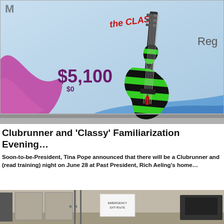[Figure (photo): Screen display showing a green and black striped electric guitar with 'The Clash' text logo in red, auction bid price of $5,100, and '$0' below, on a light blue background with colorful wave shapes in purple and blue. Partial text 'Reg' visible on right side.]
Clubrunner and 'Classy' Familiarization Evening…
Soon-to-be-President, Tina Pope announced that there will be a Clubrunner and (read training) night on June 28 at Past President, Rich Aeling's home…
[Figure (photo): Indoor room photo showing what appears to be a hallway or meeting space with doors, a sign on the wall, and dark furniture or equipment on the right.]